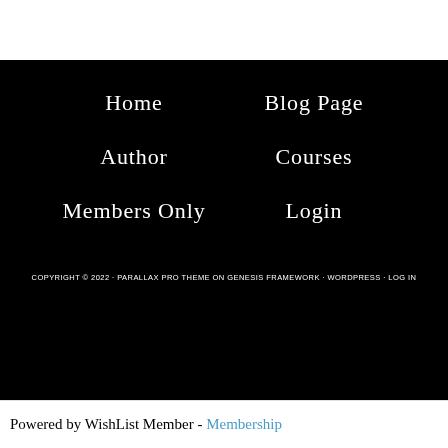Home
Blog Page
Author
Courses
Members Only
Login
COPYRIGHT © 2022 · PARALLAX PRO THEME ON GENESIS FRAMEWORK · WORDPRESS · LOG IN
Powered by WishList Member - Membership